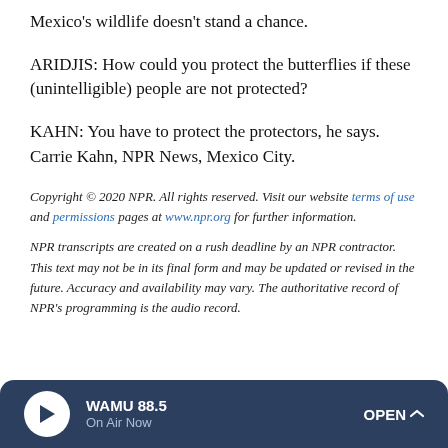Mexico's wildlife doesn't stand a chance.
ARIDJIS: How could you protect the butterflies if these (unintelligible) people are not protected?
KAHN: You have to protect the protectors, he says. Carrie Kahn, NPR News, Mexico City.
Copyright © 2020 NPR. All rights reserved. Visit our website terms of use and permissions pages at www.npr.org for further information.
NPR transcripts are created on a rush deadline by an NPR contractor. This text may not be in its final form and may be updated or revised in the future. Accuracy and availability may vary. The authoritative record of NPR's programming is the audio record.
WAMU 88.5 On Air Now OPEN